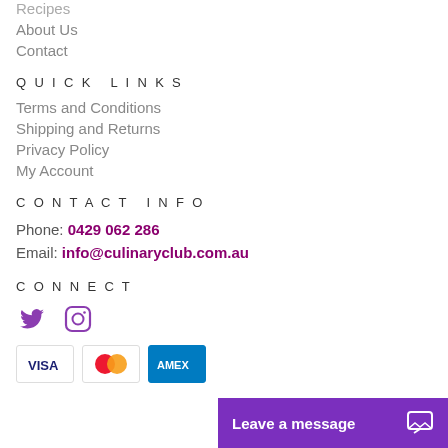Recipes
About Us
Contact
QUICK LINKS
Terms and Conditions
Shipping and Returns
Privacy Policy
My Account
CONTACT INFO
Phone: 0429 062 286
Email: info@culinaryclub.com.au
CONNECT
[Figure (illustration): Twitter and Instagram social media icons]
[Figure (illustration): Payment method logos: Visa, Mastercard, Amex]
Leave a message